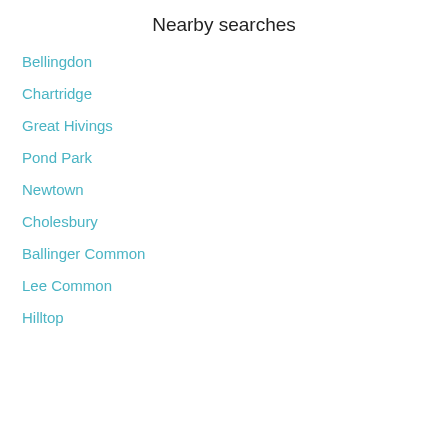Nearby searches
Bellingdon
Chartridge
Great Hivings
Pond Park
Newtown
Cholesbury
Ballinger Common
Lee Common
Hilltop